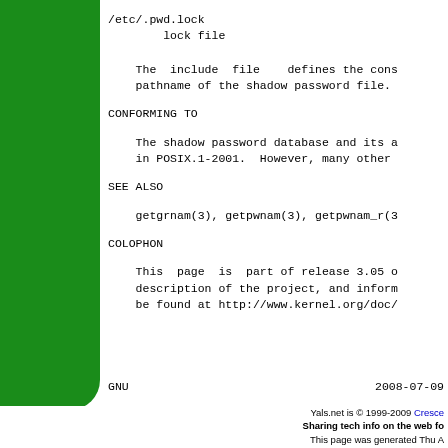/etc/.pwd.lock
        lock file

    The  include  file    defines the cons
    pathname of the shadow password file.
CONFORMING TO
The shadow password database and its a
    in POSIX.1-2001.  However, many other
SEE ALSO
getgrnam(3), getpwnam(3), getpwnam_r(3
COLOPHON
This  page  is  part of release 3.05 o
    description of the project, and inform
    be found at http://www.kernel.org/doc/
GNU                                    2008-07-09
Yals.net is © 1999-2009 Cresce
Sharing tech info on the web fo
This page was generated Thu A